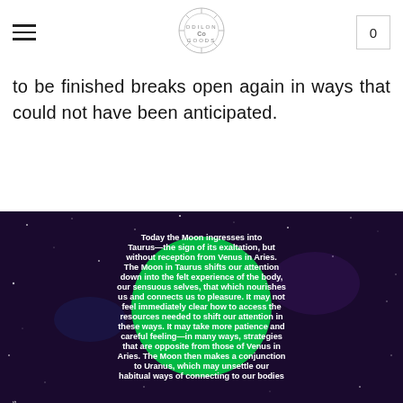≡  [logo] Co  0
to be finished breaks open again in ways that could not have been anticipated.
[Figure (photo): Space/galaxy background image with a large bright green circular overlay containing white bold text about the Moon ingressing into Taurus. Text reads: 'Today the Moon ingresses into Taurus—the sign of its exaltation, but without reception from Venus in Aries. The Moon in Taurus shifts our attention down into the felt experience of the body, our sensuous selves, that which nourishes us and connects us to pleasure. It may not feel immediately clear how to access the resources needed to shift our attention in these ways. It may take more patience and careful feeling—in many ways, strategies that are opposite from those of Venus in Aries. The Moon then makes a conjunction to Uranus, which may unsettle our habitual ways of connecting to our bodies'. Side label rotated vertically reading 'craft Offerings with Michael J. Morris'.]